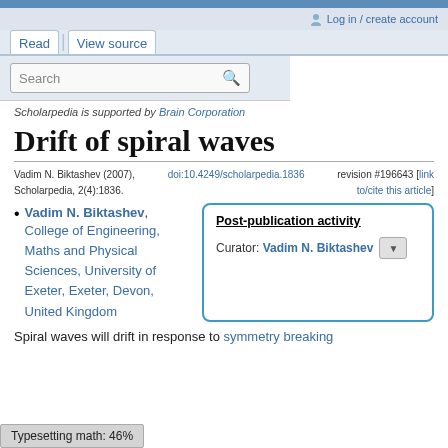Log in / create account
Read | View source
Search
Scholarpedia is supported by Brain Corporation
Drift of spiral waves
Vadim N. Biktashev (2007), Scholarpedia, 2(4):1836. doi:10.4249/scholarpedia.1836 revision #196643 [link to/cite this article]
Vadim N. Biktashev, College of Engineering, Maths and Physical Sciences, University of Exeter, Exeter, Devon, United Kingdom
| Post-publication activity |
| --- |
| Curator: Vadim N. Biktashev |
Spiral waves will drift in response to symmetry breaking
Typesetting math: 46%